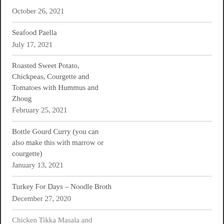October 26, 2021
Seafood Paella
July 17, 2021
Roasted Sweet Potato, Chickpeas, Courgette and Tomatoes with Hummus and Zhoug
February 25, 2021
Bottle Gourd Curry (you can also make this with marrow or courgette)
January 13, 2021
Turkey For Days – Noodle Broth
December 27, 2020
Chicken Tikka Masala and...